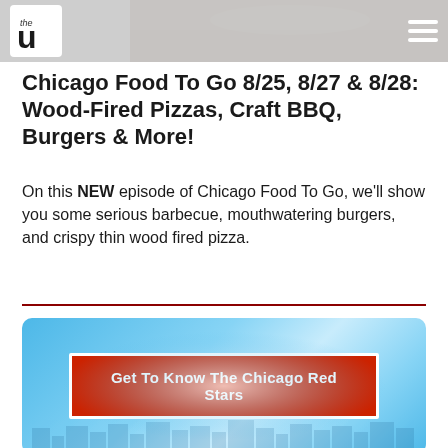the U logo / hamburger menu
[Figure (photo): Food photo visible at top of page behind header bar]
Chicago Food To Go 8/25, 8/27 & 8/28: Wood-Fired Pizzas, Craft BBQ, Burgers & More!
On this NEW episode of Chicago Food To Go, we'll show you some serious barbecue, mouthwatering burgers, and crispy thin wood fired pizza.
[Figure (infographic): Blue gradient banner with red button reading 'Get To Know The Chicago Red Stars' with white border, city skyline silhouette in background]
Get to Know the Chicago Red Stars